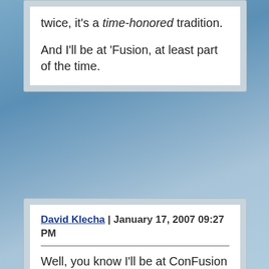twice, it's a time-honored tradition.

And I'll be at 'Fusion, at least part of the time.
David Klecha | January 17, 2007 09:27 PM
Well, you know I'll be at ConFusion among the motley gaggle that I like to call my friends (and, in a handful of cases, family). Sadly, my wife won't be there to keep me in line.
morsley | January 18, 2007 01:25